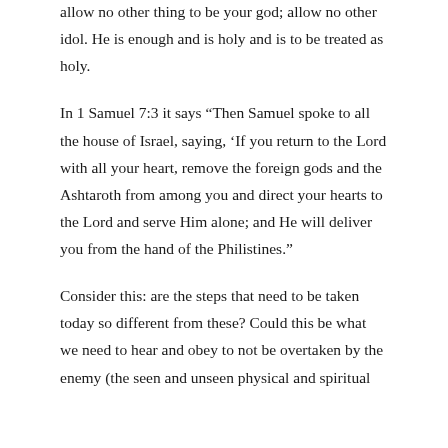allow no other thing to be your god; allow no other idol. He is enough and is holy and is to be treated as holy.
In 1 Samuel 7:3 it says “Then Samuel spoke to all the house of Israel, saying, ‘If you return to the Lord with all your heart, remove the foreign gods and the Ashtaroth from among you and direct your hearts to the Lord and serve Him alone; and He will deliver you from the hand of the Philistines.”
Consider this: are the steps that need to be taken today so different from these? Could this be what we need to hear and obey to not be overtaken by the enemy (the seen and unseen physical and spiritual